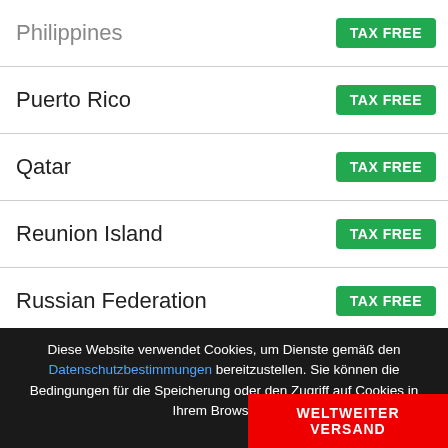| Country | Tax Status |
| --- | --- |
| Philippines | TAX FREE |
| Puerto Rico | TAX FREE |
| Qatar | TAX FREE |
| Reunion Island | TAX FREE |
| Russian Federation | TAX FREE |
| Rwanda | TAX FREE |
| Saint Barthelemy | TAX FREE |
| Saint Helena Island | TAX FREE |
Diese Website verwendet Cookies, um Dienste gemäß den Datenschutzbestimmungen bereitzustellen. Sie können die Bedingungen für die Speicherung oder den Zugriff auf Cookies in Ihrem Browser fe...
WELTWEITER VERSAND